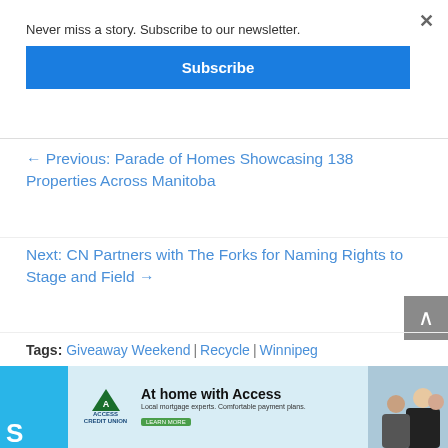Never miss a story. Subscribe to our newsletter.
Subscribe
← Previous: Parade of Homes Showcasing 138 Properties Across Manitoba
Next: CN Partners with The Forks for Naming Rights to Stage and Field →
Tags: Giveaway Weekend | Recycle | Winnipeg
[Figure (screenshot): Access Credit Union advertisement banner: 'At home with Access' with logo and photo of family]